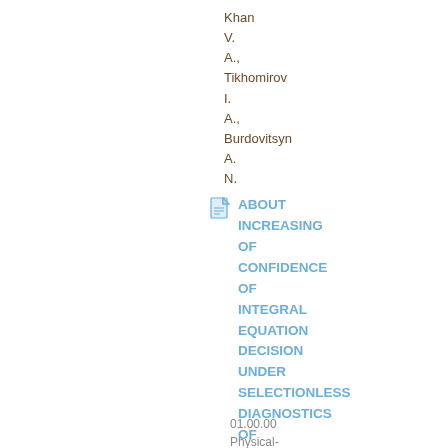Khan V. A., Tikhomirov I. A., Burdovitsyn A. N.
ABOUT INCREASING OF CONFIDENCE OF INTEGRAL EQUATION DECISION UNDER SELECTIONLESS DIAGNOSTICS OF NANO-PARTICLES
01.00.00 Physical-